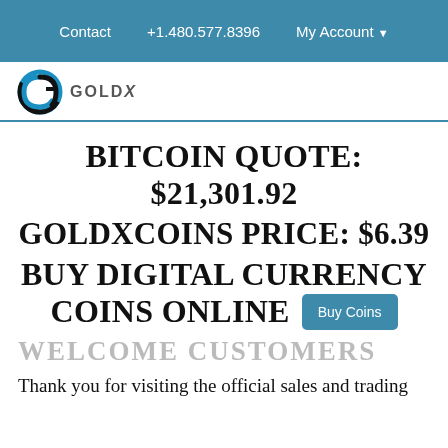Contact  +1.480.577.8396  My Account
[Figure (logo): GoldX logo with circular G icon and GOLDX text]
BITCOIN QUOTE: $21,301.92
GOLDXCOINS PRICE: $6.39
BUY DIGITAL CURRENCY COINS ONLINE
WELCOME CUSTOMERS
Thank you for visiting the official sales and trading